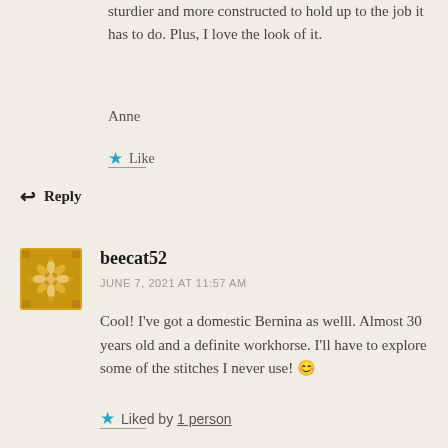sturdier and more constructed to hold up to the job it has to do. Plus, I love the look of it.
Anne
★ Like
↩ Reply
[Figure (illustration): Avatar icon for user beecat52 — golden/yellow decorative pattern on a square background]
beecat52
JUNE 7, 2021 AT 11:57 AM
Cool! I've got a domestic Bernina as welll. Almost 30 years old and a definite workhorse. I'll have to explore some of the stitches I never use! 😊
★ Liked by 1 person